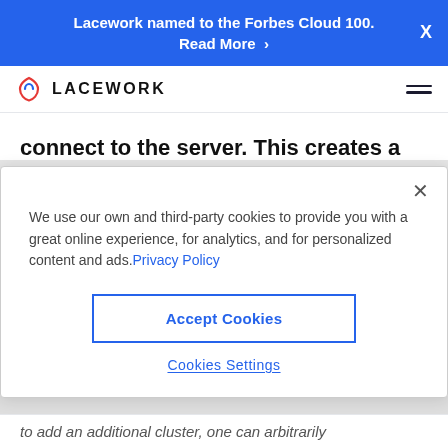Lacework named to the Forbes Cloud 100. Read More >
[Figure (logo): Lacework logo with shield icon and LACEWORK wordmark, plus hamburger menu icon]
connect to the server. This creates a pseudo firewall only permitting specific hosts based on IP.
We use our own and third-party cookies to provide you with a great online experience, for analytics, and for personalized content and ads. Privacy Policy
Accept Cookies
Cookies Settings
to add an additional cluster, one can arbitrarily